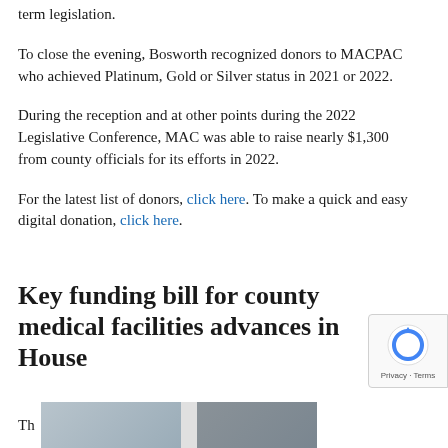term legislation.
To close the evening, Bosworth recognized donors to MACPAC who achieved Platinum, Gold or Silver status in 2021 or 2022.
During the reception and at other points during the 2022 Legislative Conference, MAC was able to raise nearly $1,300 from county officials for its efforts in 2022.
For the latest list of donors, click here. To make a quick and easy digital donation, click here.
Key funding bill for county medical facilities advances in House
[Figure (photo): Partial photo strip at the bottom of the page showing two individuals, partially cropped]